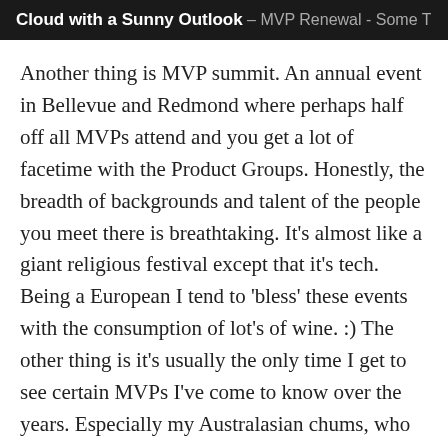Cloud with a Sunny Outlook – MVP Renewal - Some T
Another thing is MVP summit. An annual event in Bellevue and Redmond where perhaps half off all MVPs attend and you get a lot of facetime with the Product Groups. Honestly, the breadth of backgrounds and talent of the people you meet there is breathtaking. It's almost like a giant religious festival except that it's tech. Being a European I tend to 'bless' these events with the consumption of lot's of wine. :) The other thing is it's usually the only time I get to see certain MVPs I've come to know over the years. Especially my Australasian chums, who understandably aren't regulars on the European Conference Circuit.
Finally, (and this one's almost a cliché) there is the